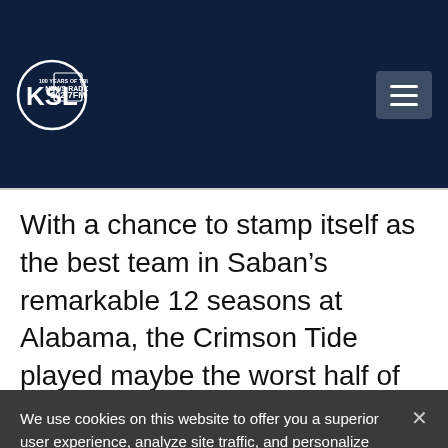KSL NewsRadio 102.7FM
With a chance to stamp itself as the best team in Saban’s remarkable 12 seasons at Alabama, the Crimson Tide played maybe the worst half of the coach’s tenure. The 15-point halftime deficit was the largest the
We use cookies on this website to offer you a superior user experience, analyze site traffic, and personalize content and advertisements. By continuing to use our site, you consent to our use of cookies. Please visit our Privacy Policy for more information.
Accept Cookies